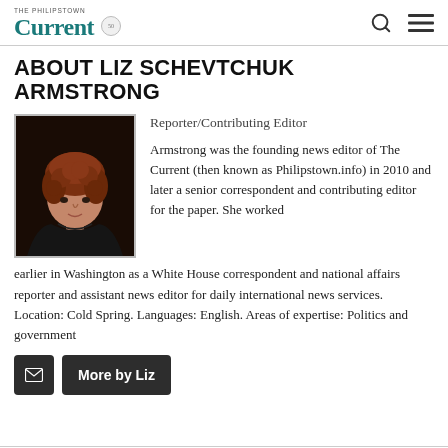The Philipstown Current
ABOUT LIZ SCHEVTCHUK ARMSTRONG
[Figure (photo): Portrait photo of Liz Schevtchuk Armstrong, a woman with short curly reddish-brown hair, wearing dark clothing, against a dark background.]
Reporter/Contributing Editor
Armstrong was the founding news editor of The Current (then known as Philipstown.info) in 2010 and later a senior correspondent and contributing editor for the paper. She worked earlier in Washington as a White House correspondent and national affairs reporter and assistant news editor for daily international news services. Location: Cold Spring. Languages: English. Areas of expertise: Politics and government